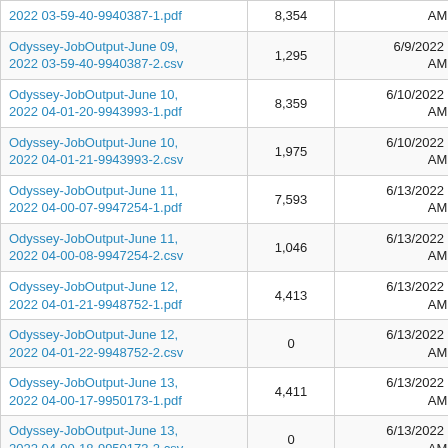| 2022 03-59-40-9940387-1.pdf | 8,354 | AM +00:00 |
| Odyssey-JobOutput-June 09, 2022 03-59-40-9940387-2.csv | 1,295 | 6/9/2022 9:00:39 AM +00:00 |
| Odyssey-JobOutput-June 10, 2022 04-01-20-9943993-1.pdf | 8,359 | 6/10/2022 9:01:09 AM +00:00 |
| Odyssey-JobOutput-June 10, 2022 04-01-21-9943993-2.csv | 1,975 | 6/10/2022 9:01:11 AM +00:00 |
| Odyssey-JobOutput-June 11, 2022 04-00-07-9947254-1.pdf | 7,593 | 6/13/2022 9:01:16 AM +00:00 |
| Odyssey-JobOutput-June 11, 2022 04-00-08-9947254-2.csv | 1,046 | 6/13/2022 9:01:17 AM +00:00 |
| Odyssey-JobOutput-June 12, 2022 04-01-21-9948752-1.pdf | 4,413 | 6/13/2022 9:01:19 AM +00:00 |
| Odyssey-JobOutput-June 12, 2022 04-01-22-9948752-2.csv | 0 | 6/13/2022 9:01:20 AM +00:00 |
| Odyssey-JobOutput-June 13, 2022 04-00-17-9950173-1.pdf | 4,411 | 6/13/2022 9:01:21 AM +00:00 |
| Odyssey-JobOutput-June 13, 2022 04-00-18-9950173-2.csv | 0 | 6/13/2022 9:01:23 AM +00:00 |
| Odyssey-JobOutput-June 14, 2022 03-59-40-9953983-1.pdf | 6,338 | 6/14/2022 9:00:45 AM +00:00 |
| Odyssey-JobOutput-June 14, 2022 03-59-41-9953983-2.csv | 853 | 6/14/2022 9:00:47 AM +00:00 |